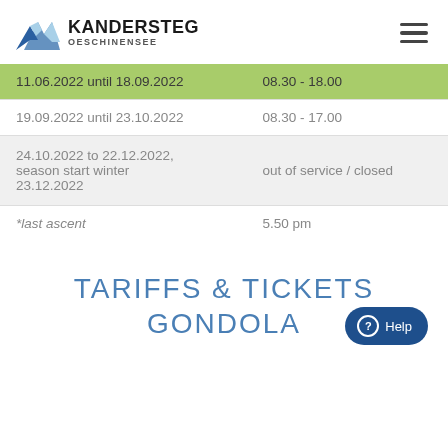KANDERSTEG OESCHINENSEE
| Date Range | Hours |
| --- | --- |
| 11.06.2022 until 18.09.2022 | 08.30 - 18.00 |
| 19.09.2022 until 23.10.2022 | 08.30 - 17.00 |
| 24.10.2022 to 22.12.2022, season start winter 23.12.2022 | out of service / closed |
| *last ascent | 5.50 pm |
TARIFFS & TICKETS GONDOLA